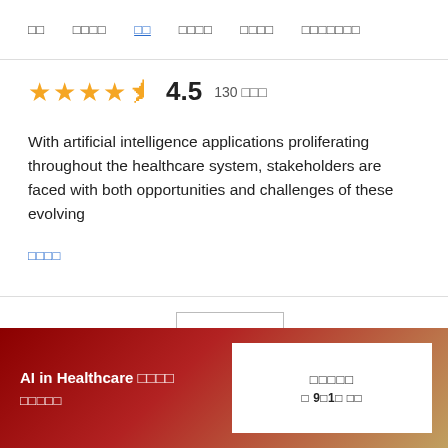□□  □□□□  □□  □□□□  □□□□  □□□□□□□
4.5  130 □□□
With artificial intelligence applications proliferating throughout the healthcare system, stakeholders are faced with both opportunities and challenges of these evolving
□□□□
[Figure (other): Book thumbnail placeholder with Korean characters]
AI in Healthcare □□□□ □□□□□
□□□□□ □ 9□1□ □□